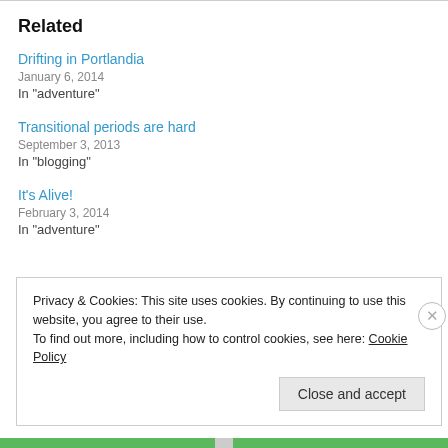Related
Drifting in Portlandia
January 6, 2014
In "adventure"
Transitional periods are hard
September 3, 2013
In "blogging"
It's Alive!
February 3, 2014
In "adventure"
Privacy & Cookies: This site uses cookies. By continuing to use this website, you agree to their use.
To find out more, including how to control cookies, see here: Cookie Policy
Close and accept